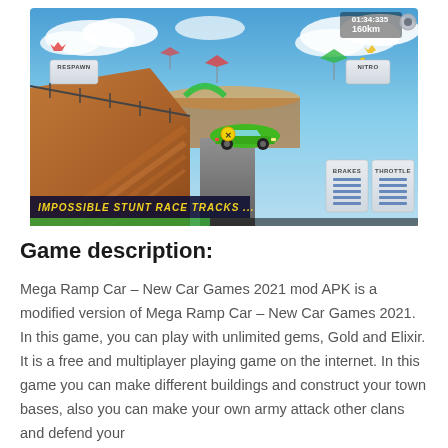[Figure (screenshot): Mobile game screenshot of 'Impossible Stunt Race Tracks' showing a green sports car on a ramp track floating in the sky. UI elements include RESPAWN and NITRO buttons at top, BRAKES and THROTTLE buttons at bottom right, timer showing 01:34:335 and 160km/h, and a yellow text banner reading 'IMPOSSIBLE STUNT RACE TRACKS ...']
Game description:
Mega Ramp Car – New Car Games 2021 mod APK is a modified version of Mega Ramp Car – New Car Games 2021. In this game, you can play with unlimited gems, Gold and Elixir. It is a free and multiplayer playing game on the internet. In this game you can make different buildings and construct your town bases, also you can make your own army attack other clans and defend your